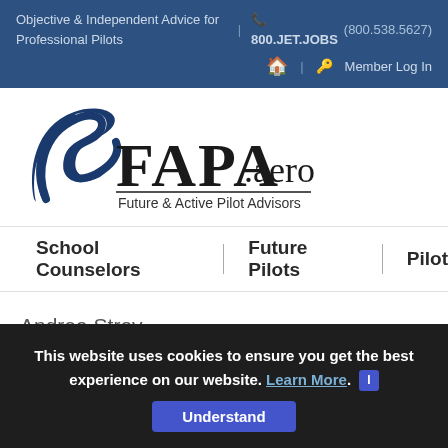Objective & Independent Advice for Professional Pilots | 800.JET.JOBS (800.538.5627) | Member Log In
[Figure (logo): FAPA.aero logo with stylized F and text 'Future & Active Pilot Advisors']
School Counselors | Future Pilots | Pilot
Andrea Stroy
I am hoping to become a commercial airline pilot and
This website uses cookies to ensure you get the best experience on our website. Learn More. Understand